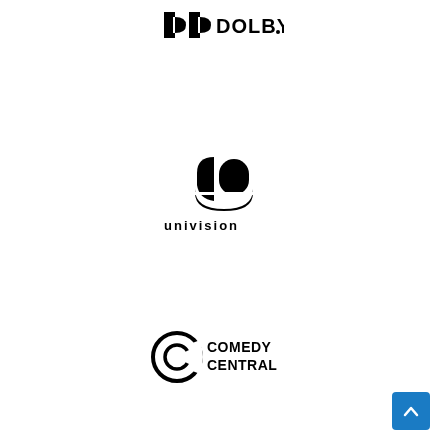[Figure (logo): Dolby logo — two letter D shapes side by side followed by bold text DOLBY with a registered-like dot, all in black]
[Figure (logo): Univision logo — stylized tulip/shield shape in black above bold lowercase text 'univision']
[Figure (logo): Comedy Central logo — circular C icon with a smaller c inside followed by bold uppercase text 'COMEDY CENTRAL' stacked in two lines]
[Figure (other): Blue scroll-to-top button with upward chevron arrow in bottom right corner]